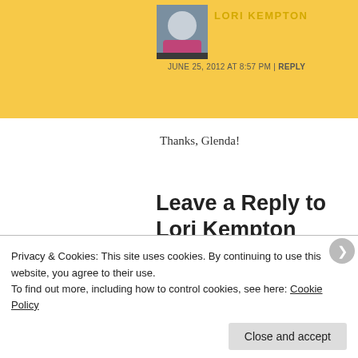[Figure (photo): Small circular/square portrait photo of Lori Kempton]
LORI KEMPTON
JUNE 25, 2012 AT 8:57 PM | REPLY
Thanks, Glenda!
Leave a Reply to Lori Kempton Cancel reply
Your email address will not be
Privacy & Cookies: This site uses cookies. By continuing to use this website, you agree to their use.
To find out more, including how to control cookies, see here: Cookie Policy
Close and accept